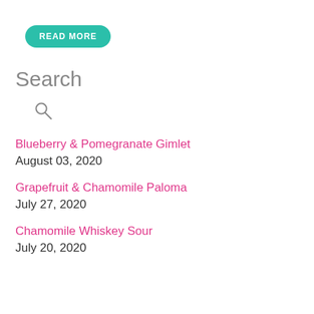[Figure (other): Teal rounded pill button with white bold text reading READ MORE]
Search
[Figure (other): Search icon (magnifying glass) in gray]
Blueberry & Pomegranate Gimlet
August 03, 2020
Grapefruit & Chamomile Paloma
July 27, 2020
Chamomile Whiskey Sour
July 20, 2020